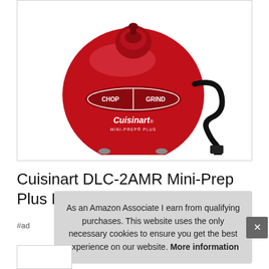[Figure (photo): Cuisinart DLC-2AMR Mini-Prep Plus Food Processor in Metallic Red, shown from above with CHOP and GRIND buttons visible, Cuisinart Mini-Prep Plus branding, and black power cord coiled to the right.]
Cuisinart DLC-2AMR Mini-Prep Plus Processor, Metallic Red
#ad
As an Amazon Associate I earn from qualifying purchases. This website uses the only necessary cookies to ensure you get the best experience on our website. More information